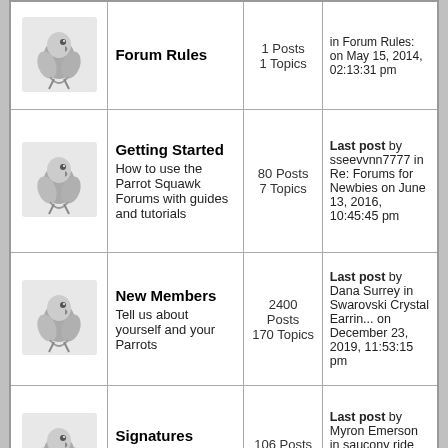| Icon | Forum | Stats | Last Post |
| --- | --- | --- | --- |
| [parrot image] | Forum Rules | 1 Posts
1 Topics | in Forum Rules:
on May 15, 2014, 02:13:31 pm |
| [parrot image] | Getting Started
How to use the Parrot Squawk Forums with guides and tutorials | 80 Posts
7 Topics | Last post by sseevvnn7777
in Re: Forums for Newbies
on June 13, 2016, 10:45:45 pm |
| [parrot image] | New Members
Tell us about yourself and your Parrots | 2400 Posts
170 Topics | Last post by Dana Surrey
in Swarovski Crystal Earrin...
on December 23, 2019, 11:53:15 pm |
| [parrot image] | Signatures
This is the place to request a signature. | 106 Posts
17 Topics | Last post by Myron Emerson
in saucony ride 10
on April 15, 2019, 12:57:22 am |
| [parrot image] | Forum Support, Gold... |  |  |